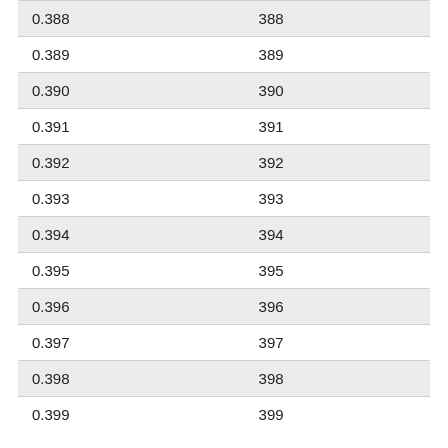| 0.388 | 388 |
| 0.389 | 389 |
| 0.390 | 390 |
| 0.391 | 391 |
| 0.392 | 392 |
| 0.393 | 393 |
| 0.394 | 394 |
| 0.395 | 395 |
| 0.396 | 396 |
| 0.397 | 397 |
| 0.398 | 398 |
| 0.399 | 399 |